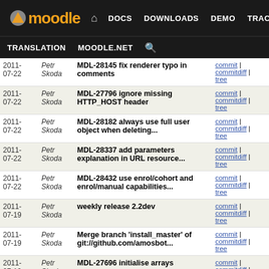Moodle - DOCS DOWNLOADS DEMO TRACKER DEV TRANSLATION MOODLE.NET
| Date | Author | Commit | Links |
| --- | --- | --- | --- |
| 2011-07-22 | Petr Skoda | MDL-28145 fix renderer typo in comments | commit | commitdiff | tree |
| 2011-07-22 | Petr Skoda | MDL-27796 ignore missing HTTP_HOST header | commit | commitdiff | tree |
| 2011-07-22 | Petr Skoda | MDL-28182 always use full user object when deleting... | commit | commitdiff | tree |
| 2011-07-22 | Petr Skoda | MDL-28337 add parameters explanation in URL resource... | commit | commitdiff | tree |
| 2011-07-22 | Petr Skoda | MDL-28432 use enrol/cohort and enrol/manual capabilities... | commit | commitdiff | tree |
| 2011-07-19 | Petr Skoda | weekly release 2.2dev | commit | commitdiff | tree |
| 2011-07-19 | Petr Skoda | Merge branch 'install_master' of git://github.com/amosbot... | commit | commitdiff | tree |
| 2011-07-19 | Petr Skoda | MDL-27696 initialise arrays | commit | commitdiff | tree |
| 2011-07-19 | Petr Skoda | MDL-27696 do not use placeholders in GROUP BY because... | commit | commitdiff | tree |
| 2011-07-19 | Petr Skoda | MDL-27889 use new recaptcha google urls in lang packs | commit | commitdiff | tree |